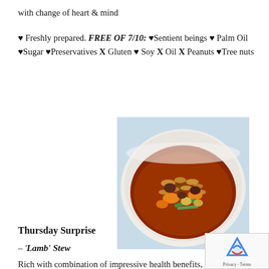with change of heart & mind
♥ Freshly prepared. FREE OF 7/10: ♥Sentient beings ♥ Palm Oil ♥Sugar ♥Preservatives X Gluten ♥ Soy X Oil X Peanuts ♥Tree nuts
[Figure (photo): A white bowl filled with hearty stew containing vegetables, grains, carrots, green beans, and meat in a rich brown broth]
Thursday Surprise
– 'Lamb' Stew
Rich with combination of impressive health benefits,